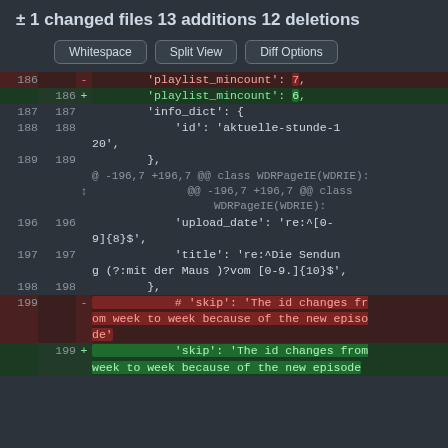± 1 changed files 13 additions 12 deletions
Whitespace | Split View | Diff Options
| old | new | sym | code |
| --- | --- | --- | --- |
| 186 |  | - | 'playlist_mincount': 7, |
|  | 186 | + | 'playlist_mincount': 6, |
| 187 | 187 |  | 'info_dict': { |
| 188 | 188 |  | 'id': 'aktuelle-stunde-1
20', |
| 189 | 189 |  | }, |
|  |  |  | @ -196,7 +196,7 @@ class WDRPageIE(WDRIE): |
|  |  | ↕ | @@ -196,7 +196,7 @@ class WDRPageIE(WDRIE): |
| 196 | 196 |  | 'upload_date': 're:^[0-9]{8}$', |
| 197 | 197 |  | 'title': 're:^Die Sendung (?:mit der Maus )?vom [0-9.]{10}$', |
| 198 | 198 |  | }, |
| 199 |  | - | # 'skip': 'The id changes from week to week because of the new episode' |
|  | 199 | + | 'skip': 'The id changes from week to week because of the new episode |